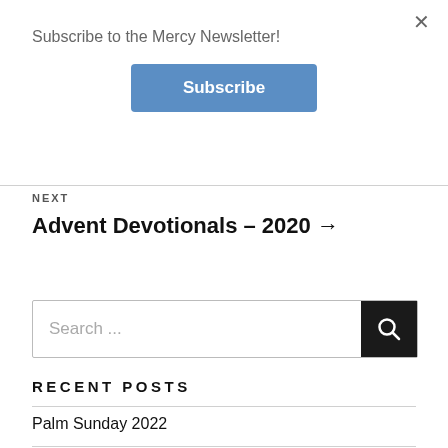Subscribe to the Mercy Newsletter!
[Figure (other): Blue Subscribe button]
×
NEXT
Advent Devotionals – 2020 →
[Figure (other): Search bar with magnifying glass icon]
RECENT POSTS
Palm Sunday 2022